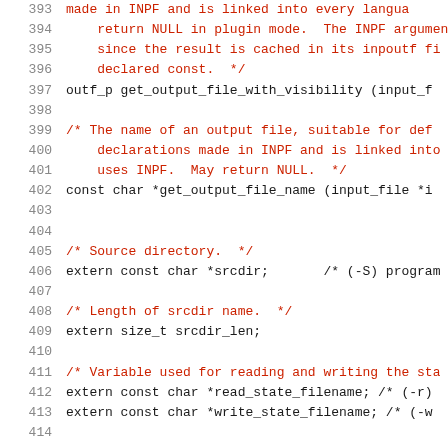Source code listing lines 393–414 showing C header file declarations
393   made in INPF and is linked into every langua...
394       return NULL in plugin mode.  The INPF argumen...
395       since the result is cached in its inpoutf fi...
396       declared const.  */
397   outf_p get_output_file_with_visibility (input_f...
398
399   /* The name of an output file, suitable for def...
400       declarations made in INPF and is linked into...
401       uses INPF.  May return NULL.  */
402   const char *get_output_file_name (input_file *i...
403
404
405   /* Source directory.  */
406   extern const char *srcdir;       /* (-S) program...
407
408   /* Length of srcdir name.  */
409   extern size_t srcdir_len;
410
411   /* Variable used for reading and writing the sta...
412   extern const char *read_state_filename; /* (-r)
413   extern const char *write_state_filename; /* (-w...
414